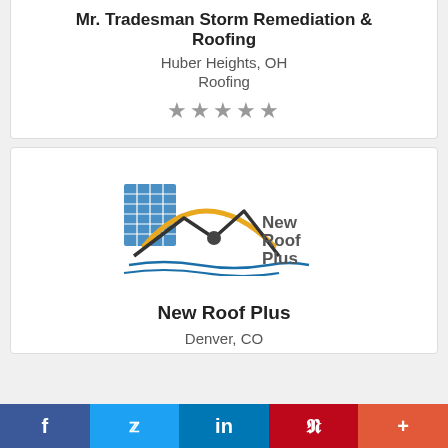Mr. Tradesman Storm Remediation & Roofing
Huber Heights, OH
Roofing
[Figure (other): Five grey star rating icons]
[Figure (logo): New Roof Plus logo: building, sun arc, mountain roofline, wavy lines, text 'New Roof Plus']
New Roof Plus
Denver, CO
f  Twitter  in  Pinterest  +